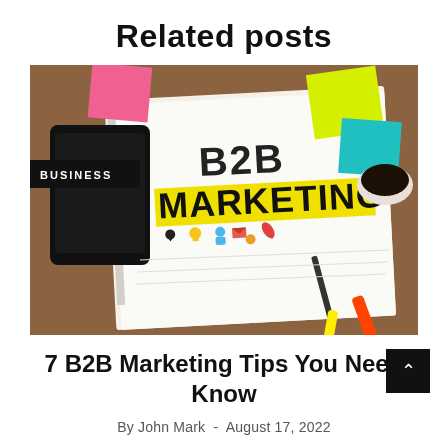Related posts
[Figure (photo): Overhead photo of a desk with a tablet, sticky notes, coffee cup, highlighters, and a notebook open to a page reading 'B2B MARKETING' with small marketing icons drawn below, labeled BUSINESS in a black badge overlay]
7 B2B Marketing Tips You Need Know
By John Mark  -  August 17, 2022